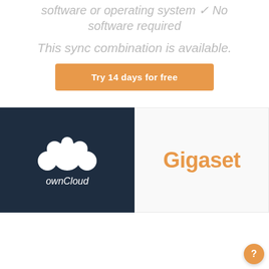software or operating system ✓ No software required
This sync combination is available.
Try 14 days for free
[Figure (logo): ownCloud logo on dark navy blue background with white cloud icon and white lowercase text 'ownCloud']
[Figure (logo): Gigaset logo in orange text on white/light gray background]